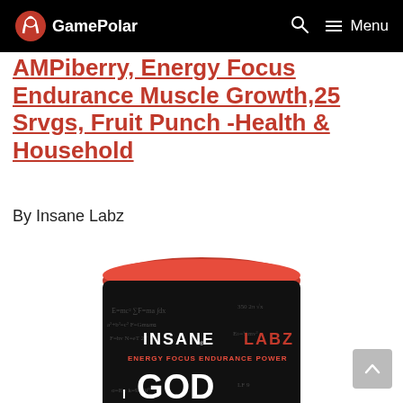GamePolar
AMPiberry, Energy Focus Endurance Muscle Growth,25 Srvgs, Fruit Punch -Health & Household
By Insane Labz
[Figure (photo): Product photo of Insane Labz I Am God pre-workout supplement container with red lid and black label showing mathematics equations, with text INSANE LABZ, ENERGY FOCUS ENDURANCE POWER, and I AM GOD]